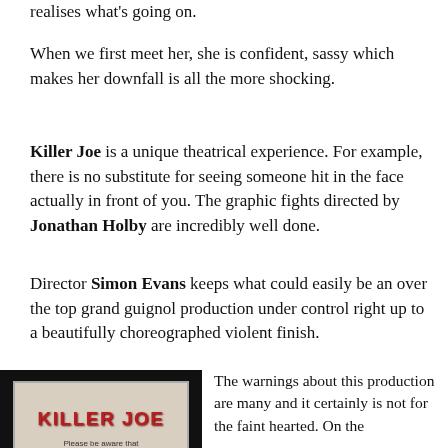realises what's going on.
When we first meet her, she is confident, sassy which makes her downfall is all the more shocking.
Killer Joe is a unique theatrical experience. For example, there is no substitute for seeing someone hit in the face actually in front of you. The graphic fights directed by Jonathan Holby are incredibly well done.
Director Simon Evans keeps what could easily be an over the top grand guignol production under control right up to a beautifully choreographed violent finish.
[Figure (photo): A framed sign reading 'KILLER JOE' in bold red text with subtitle 'Please be aware that this show contains:']
The warnings about this production are many and it certainly is not for the faint hearted. On the